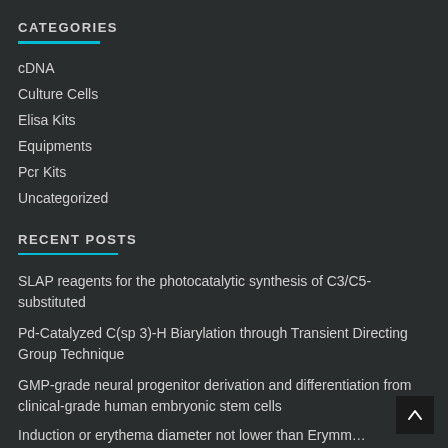CATEGORIES
cDNA
Culture Cells
Elisa Kits
Equipments
Pcr Kits
Uncategorized
RECENT POSTS
SLAP reagents for the photocatalytic synthesis of C3/C5-substituted
Pd-Catalyzed C(sp 3)-H Biarylation through Transient Directing Group Technique
GMP-grade neural progenitor derivation and differentiation from clinical-grade human embryonic stem cells
Induction or erythema diameter not lower than Erymm…